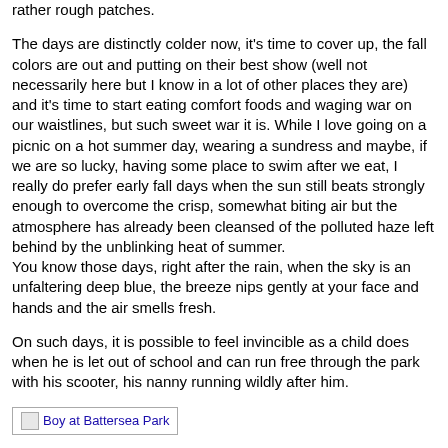rather rough patches.
The days are distinctly colder now, it's time to cover up, the fall colors are out and putting on their best show (well not necessarily here but I know in a lot of other places they are) and it's time to start eating comfort foods and waging war on our waistlines, but such sweet war it is. While I love going on a picnic on a hot summer day, wearing a sundress and maybe, if we are so lucky, having some place to swim after we eat, I really do prefer early fall days when the sun still beats strongly enough to overcome the crisp, somewhat biting air but the atmosphere has already been cleansed of the polluted haze left behind by the unblinking heat of summer.
You know those days, right after the rain, when the sky is an unfaltering deep blue, the breeze nips gently at your face and hands and the air smells fresh.
On such days, it is possible to feel invincible as a child does when he is let out of school and can run free through the park with his scooter, his nanny running wildly after him.
[Figure (photo): Boy at Battersea Park — image placeholder with alt text]